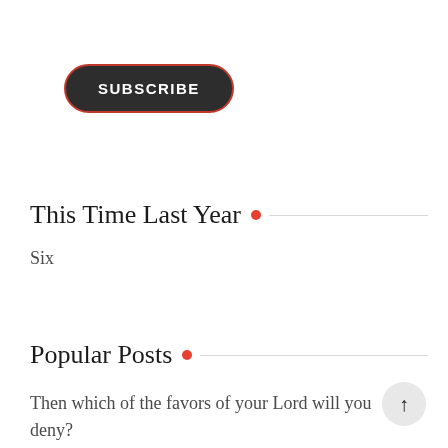[Figure (other): Subscribe button — dark rounded pill shape with white text 'SUBSCRIBE', red border outline]
This Time Last Year
Six
Popular Posts
Then which of the favors of your Lord will you deny?